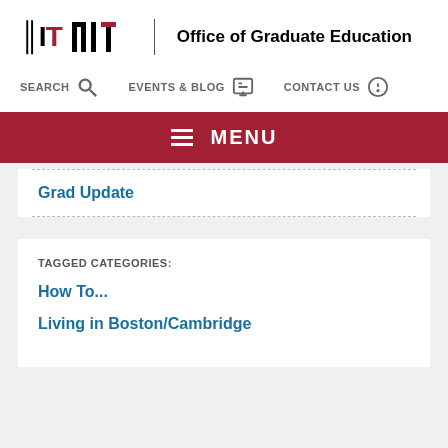[Figure (logo): MIT logo with 'MIT' letters in black and red, vertical divider, and 'Office of Graduate Education' text]
SEARCH  EVENTS & BLOG  CONTACT US
≡ MENU
Grad Update
TAGGED CATEGORIES:
How To...
Living in Boston/Cambridge